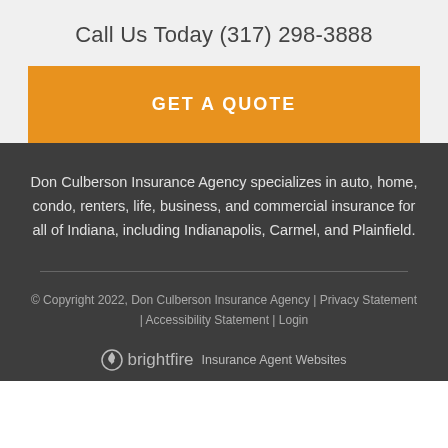Call Us Today (317) 298-3888
GET A QUOTE
Don Culberson Insurance Agency specializes in auto, home, condo, renters, life, business, and commercial insurance for all of Indiana, including Indianapolis, Carmel, and Plainfield.
© Copyright 2022, Don Culberson Insurance Agency | Privacy Statement | Accessibility Statement | Login
brightfire Insurance Agent Websites